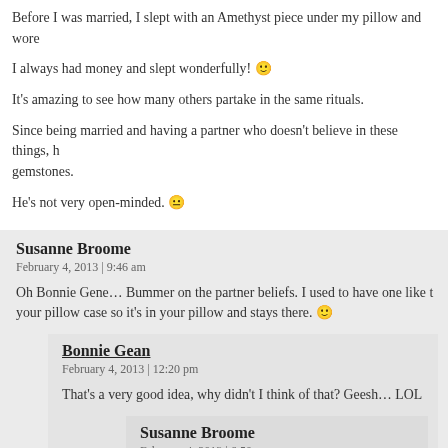Before I was married, I slept with an Amethyst piece under my pillow and wore
I always had money and slept wonderfully! 🙂
It's amazing to see how many others partake in the same rituals.
Since being married and having a partner who doesn't believe in these things, b gemstones.
He's not very open-minded. 😐
Susanne Broome
February 4, 2013 | 9:46 am
Oh Bonnie Gene… Bummer on the partner beliefs. I used to have one like t your pillow case so it's in your pillow and stays there. 🙂
Bonnie Gean
February 4, 2013 | 12:20 pm
That's a very good idea, why didn't I think of that? Geesh… LOL
Susanne Broome
February 4, 2013 | 6:50 pm